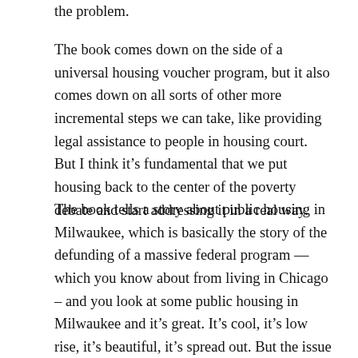the problem.
The book comes down on the side of a universal housing voucher program, but it also comes down on all sorts of other more incremental steps we can take, like providing legal assistance to people in housing court. But I think it’s fundamental that we put housing back to the center of the poverty debate and start addressing it in a real way.
The book tells a story about public housing in Milwaukee, which is basically the story of the defunding of a massive federal program — which you know about from living in Chicago – and you look at some public housing in Milwaukee and it’s great. It’s cool, it’s low rise, it’s beautiful, it’s spread out. But the issue is the waiting list. You go to DC or Portland or Oakland and there’s cool public housing and its great, but the waiting list for public